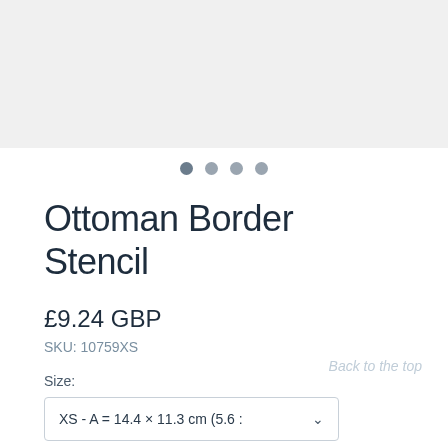[Figure (other): Light grey image area / product image placeholder]
[Figure (other): Image carousel dot navigation indicators, 4 dots, first one active]
Ottoman Border Stencil
£9.24 GBP
SKU: 10759XS
Back to the top
Size:
XS - A = 14.4 x 11.3 cm (5.6 :